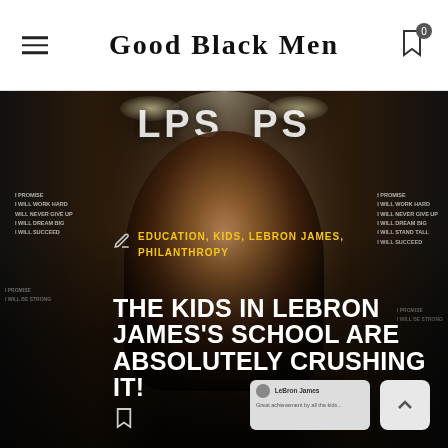Good Black Men
[Figure (photo): LeBron James standing in the I Promise School hallway with motivational banners on the walls. Black and white photo with some color accents. Background shows 'I PROMISE' text panels and 'PS' logo banners hanging from ceiling.]
EDUCATION, KIDS, LEBRON JAMES, PHILANTHROPY
THE KIDS IN LEBRON JAMES'S SCHOOL ARE ABSOLUTELY CRUSHING IT!